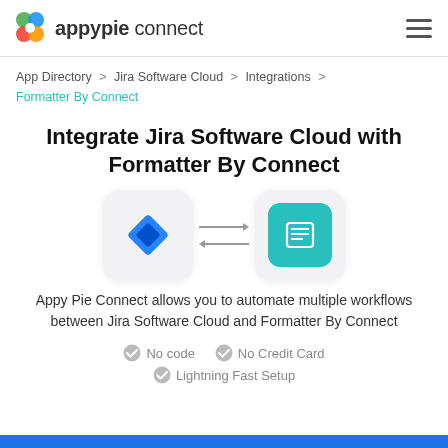appypie connect
App Directory > Jira Software Cloud > Integrations > Formatter By Connect
Integrate Jira Software Cloud with Formatter By Connect
[Figure (illustration): Two app icons with bidirectional arrows between them: Jira Software Cloud (blue diamond logo) on left, Formatter By Connect (teal document icon) on right]
Appy Pie Connect allows you to automate multiple workflows between Jira Software Cloud and Formatter By Connect
No code
No Credit Card
Lightning Fast Setup